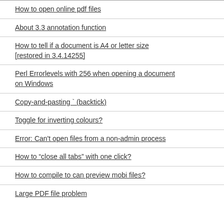How to open online pdf files
About 3.3 annotation function
How to tell if a document is A4 or letter size [restored in 3.4.14255]
Perl Errorlevels with 256 when opening a document on Windows
Copy-and-pasting ` (backtick)
Toggle for inverting colours?
Error: Can't open files from a non-admin process
How to “close all tabs” with one click?
How to compile to can preview mobi files?
Large PDF file problem